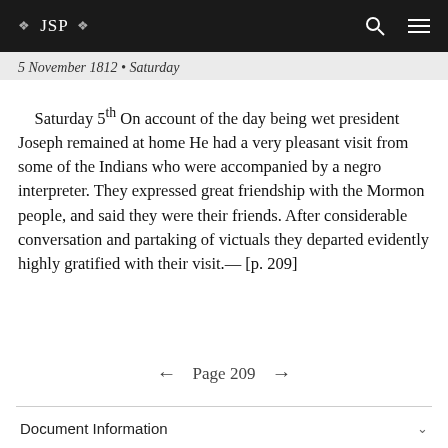❖ JSP ❖
5 November 1812 • Saturday
Saturday 5th On account of the day being wet president Joseph remained at home He had a very pleasant visit from some of the Indians who were accompanied by a negro interpreter. They expressed great friendship with the Mormon people, and said they were their friends. After considerable conversation and partaking of victuals they departed evidently highly gratified with their visit.— [p. 209]
← Page 209 →
Document Information